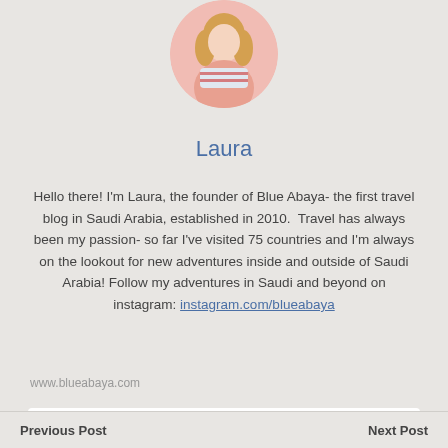[Figure (photo): Circular profile photo of Laura, a woman with long blonde hair, wearing a striped outfit, photographed with a pink floral background.]
Laura
Hello there! I'm Laura, the founder of Blue Abaya- the first travel blog in Saudi Arabia, established in 2010.  Travel has always been my passion- so far I've visited 75 countries and I'm always on the lookout for new adventures inside and outside of Saudi Arabia! Follow my adventures in Saudi and beyond on instagram: instagram.com/blueabaya
www.blueabaya.com
[Figure (infographic): Social media icons in golden/amber color: Instagram, Facebook, Twitter, YouTube, Pinterest displayed in a white rounded rectangle bar.]
Previous Post    Next Post